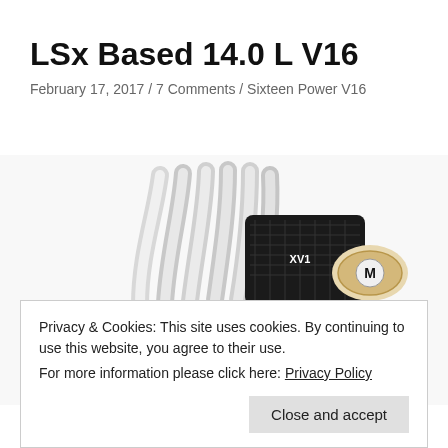LSx Based 14.0 L V16
February 17, 2017 / 7 Comments / Sixteen Power V16
[Figure (photo): LSx Based 14.0 L V16 engine with polished intake runners and a black air intake system with an M-branded air filter, photographed on white background]
Privacy & Cookies: This site uses cookies. By continuing to use this website, you agree to their use.
For more information please click here: Privacy Policy
Close and accept